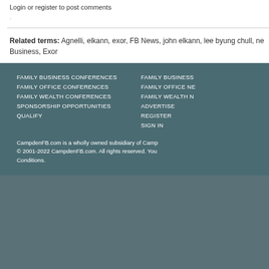Login or register to post comments
.
Related terms: Agnelli, elkann, exor, FB News, john elkann, lee byung chull, ne Business, Exor
FAMILY BUSINESS CONFERENCES
FAMILY OFFICE CONFERENCES
FAMILY WEALTH CONFERENCES
SPONSORSHIP OPPORTUNITIES
QUALIFY
FAMILY BUSINESS
FAMILY OFFICE NE
FAMILY WEALTH N
ADVERTISE
REGISTER
SIGN IN
CampdenFB.com is a wholly owned subsidiary of Camp © 2001-2022 CampdenFB.com. All rights reserved. You Conditions.